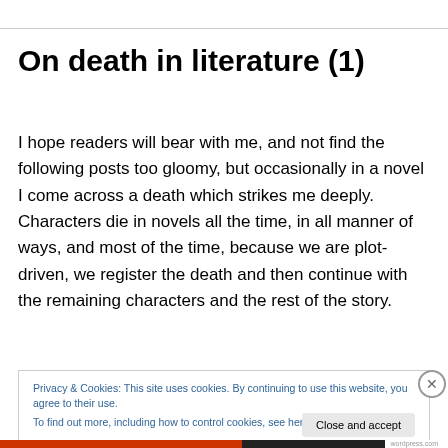On death in literature (1)
I hope readers will bear with me, and not find the following posts too gloomy, but occasionally in a novel I come across a death which strikes me deeply. Characters die in novels all the time, in all manner of ways, and most of the time, because we are plot-driven, we register the death and then continue with the remaining characters and the rest of the story.
Privacy & Cookies: This site uses cookies. By continuing to use this website, you agree to their use.
To find out more, including how to control cookies, see here: Cookie Policy